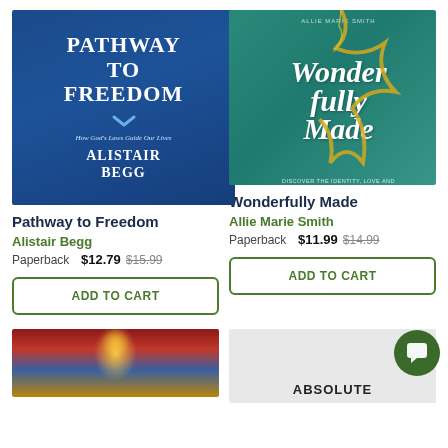[Figure (photo): Book cover: Pathway to Freedom - How God's Laws Guide Our Lives by Alistair Begg. Dark blue background with white bold title text and chevron symbol.]
Pathway to Freedom
Alistair Begg
Paperback  $12.79  $15.99
[Figure (photo): Book cover: Wonderfully Made - Discover the Identity, Love and Worth You Were Created For by Allie Marie Smith. Teal/green background with gold crack lines and white cursive title.]
Wonderfully Made
Allie Marie Smith
Paperback  $11.99  $14.99
[Figure (illustration): Stained glass style illustration of a figure, partially visible at bottom left.]
ABSOLUTE